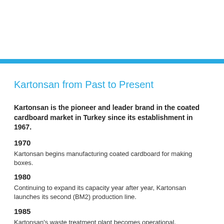Kartonsan from Past to Present
Kartonsan is the pioneer and leader brand in the coated cardboard market in Turkey since its establishment in 1967.
1970
Kartonsan begins manufacturing coated cardboard for making boxes.
1980
Continuing to expand its capacity year after year, Kartonsan launches its second (BM2) production line.
1985
Kartonsan's waste treatment plant becomes operational.